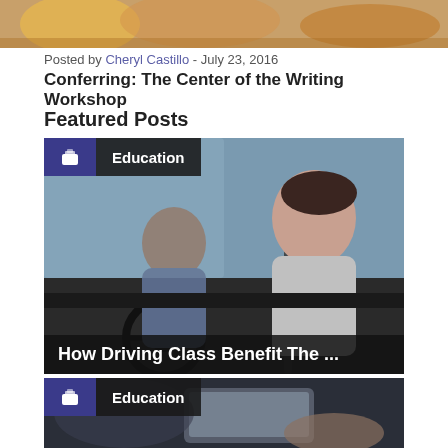[Figure (photo): Top banner image showing food items with warm tones]
Posted by Cheryl Castillo  -  July 23, 2016
Conferring: The Center of the Writing Workshop
Featured Posts
[Figure (photo): Featured post card with Education badge and photo of two people in a car (woman driving, man in passenger seat). Caption reads: How Driving Class Benefit The ...]
[Figure (photo): Second featured post card with Education badge and photo of a person holding a tablet device in a dark setting]